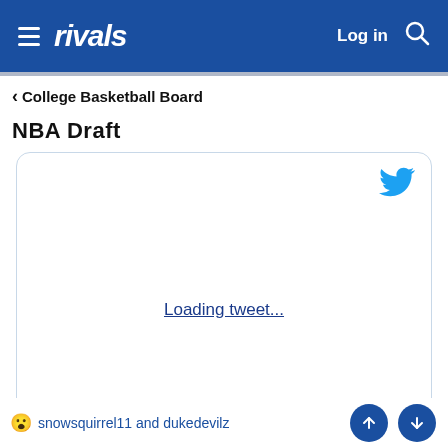rivals — Log in
< College Basketball Board
NBA Draft
[Figure (screenshot): Embedded tweet placeholder box with Twitter bird icon and 'Loading tweet...' link text in blue]
😮 snowsquirrel11 and dukedevilz